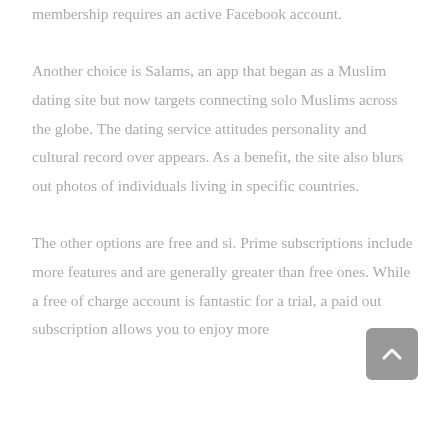membership requires an active Facebook account.

Another choice is Salams, an app that began as a Muslim dating site but now targets connecting solo Muslims across the globe. The dating service attitudes personality and cultural record over appears. As a benefit, the site also blurs out photos of individuals living in specific countries.

The other options are free and si. Prime subscriptions include more features and are generally greater than free ones. While a free of charge account is fantastic for a trial, a paid out subscription allows you to enjoy more